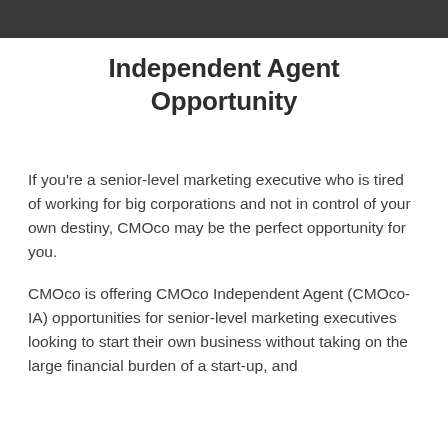[Figure (photo): Dark background photo strip at top of page, partially cropped]
Independent Agent Opportunity
If you're a senior-level marketing executive who is tired of working for big corporations and not in control of your own destiny, CMOco may be the perfect opportunity for you.
CMOco is offering CMOco Independent Agent (CMOco-IA) opportunities for senior-level marketing executives looking to start their own business without taking on the large financial burden of a start-up, and